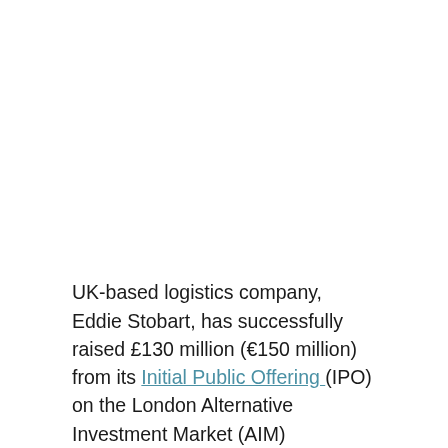UK-based logistics company, Eddie Stobart, has successfully raised £130 million (€150 million) from its Initial Public Offering (IPO) on the London Alternative Investment Market (AIM)